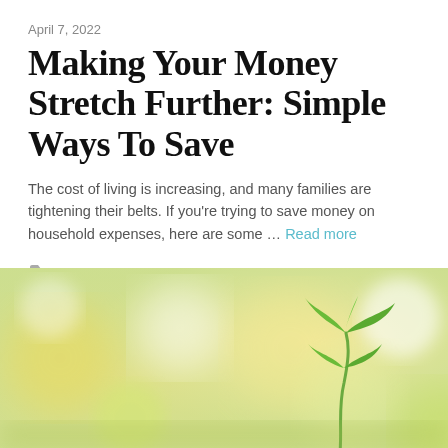April 7, 2022
Making Your Money Stretch Further: Simple Ways To Save
The cost of living is increasing, and many families are tightening their belts. If you're trying to save money on household expenses, here are some … Read more
Money Saving
family, finance, money, ways to save
[Figure (photo): Blurred bokeh background with warm yellow and green tones, featuring a small green plant seedling in the foreground on the right side]